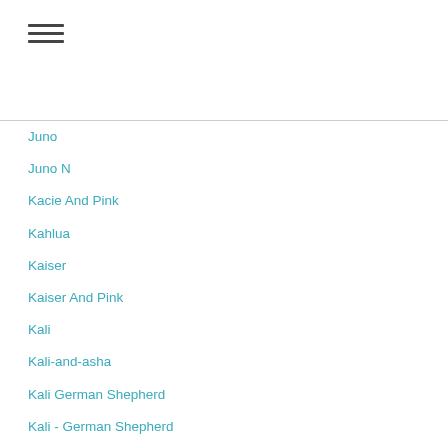Juno
Juno N
Kacie And Pink
Kahlua
Kaiser
Kaiser And Pink
Kali
Kali-and-asha
Kali German Shepherd
Kali - German Shepherd
Kamber
Kaylee
Kayto
Kenny And Sully
Kismet
Koda
Kona
Kona And Winter